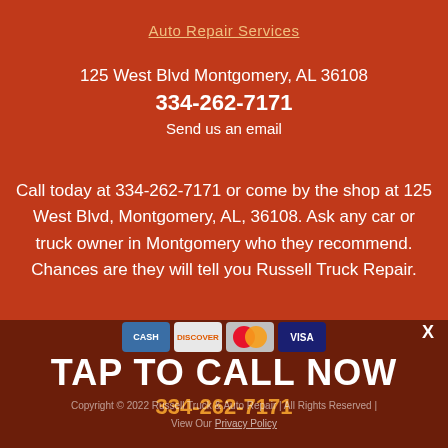Auto Repair Services
125 West Blvd Montgomery, AL 36108
334-262-7171
Send us an email
Call today at 334-262-7171 or come by the shop at 125 West Blvd, Montgomery, AL, 36108. Ask any car or truck owner in Montgomery who they recommend. Chances are they will tell you Russell Truck Repair.
[Figure (other): Payment methods icons: CASH, DISCOVER, MasterCard, VISA]
TAP TO CALL NOW
334-262-7171
X
Copyright © 2022 Russell Truck & Auto Repair | All Rights Reserved | View Our Privacy Policy